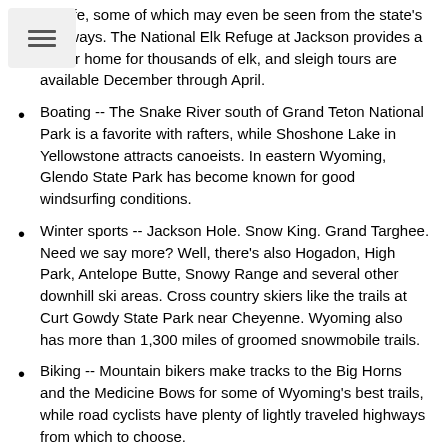wildlife, some of which may even be seen from the state's highways. The National Elk Refuge at Jackson provides a winter home for thousands of elk, and sleigh tours are available December through April.
Boating -- The Snake River south of Grand Teton National Park is a favorite with rafters, while Shoshone Lake in Yellowstone attracts canoeists. In eastern Wyoming, Glendo State Park has become known for good windsurfing conditions.
Winter sports -- Jackson Hole. Snow King. Grand Targhee. Need we say more? Well, there's also Hogadon, High Park, Antelope Butte, Snowy Range and several other downhill ski areas. Cross country skiers like the trails at Curt Gowdy State Park near Cheyenne. Wyoming also has more than 1,300 miles of groomed snowmobile trails.
Biking -- Mountain bikers make tracks to the Big Horns and the Medicine Bows for some of Wyoming's best trails, while road cyclists have plenty of lightly traveled highways from which to choose.
Dude ranches -- Wyoming is home to many working cattle ranches that welcome visitors for cattle drives, trail rides, and other